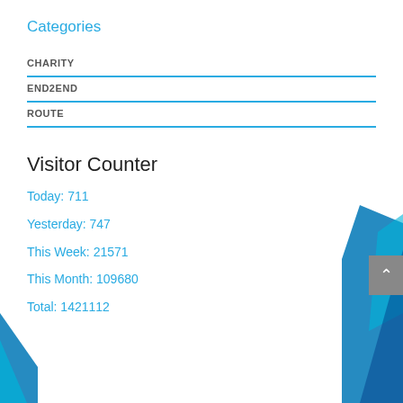Categories
CHARITY
END2END
ROUTE
Visitor Counter
Today: 711
Yesterday: 747
This Week: 21571
This Month: 109680
Total: 1421112